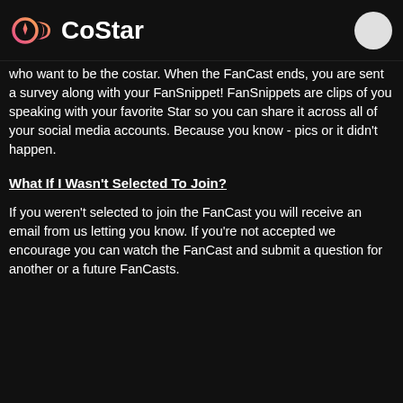CoStar
who want to be the costar. When the FanCast ends, you are sent a survey along with your FanSnippet! FanSnippets are clips of you speaking with your favorite Star so you can share it across all of your social media accounts. Because you know - pics or it didn't happen.
What If I Wasn't Selected To Join?
If you weren't selected to join the FanCast you will receive an email from us letting you know. If you're not accepted we encourage you can watch the FanCast and submit a question for another or a future FanCasts.